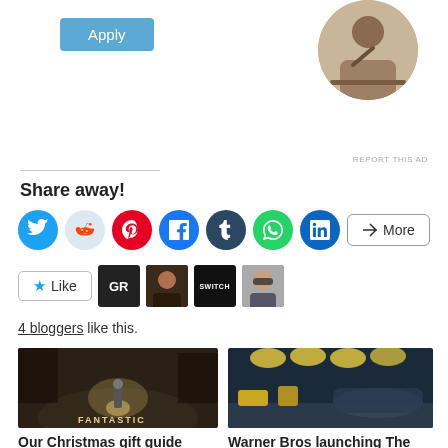[Figure (screenshot): Ad with Apply button and circular profile photo of a man thinking at a desk]
REPORT THIS AD
Share away!
[Figure (infographic): Social share icons: Twitter, Reddit, Pinterest, Facebook, Tumblr, WhatsApp, LinkedIn, and a More button]
[Figure (infographic): Like button and 4 blogger avatars (GR logo, person, SWITCH logo, person in sunglasses)]
4 bloggers like this.
[Figure (photo): Movie poster for Fantastic Beasts and Where to Find Them — dark foggy scene with a figure under a spotlight and FANTASTIC text]
Our Christmas gift guide for… Fantastic Beasts and the Wizarding World!
Dec 6, 2016
[Figure (photo): Interior of a modern venue with barrel-shaped ceiling lights, yellow furnishings and a circular bar area — Harry Potter Exhibition]
Warner Bros launching The Harry Potter Photographic Exhibition in London this July…